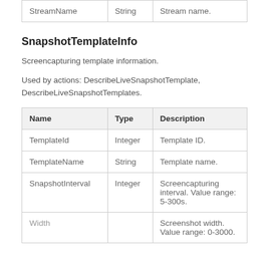| Name | Type | Description |
| --- | --- | --- |
| StreamName | String | Stream name. |
SnapshotTemplateInfo
Screencapturing template information.
Used by actions: DescribeLiveSnapshotTemplate, DescribeLiveSnapshotTemplates.
| Name | Type | Description |
| --- | --- | --- |
| TemplateId | Integer | Template ID. |
| TemplateName | String | Template name. |
| SnapshotInterval | Integer | Screencapturing interval. Value range: 5-300s. |
| Width |  | Screenshot width. Value range: 0-3000. |